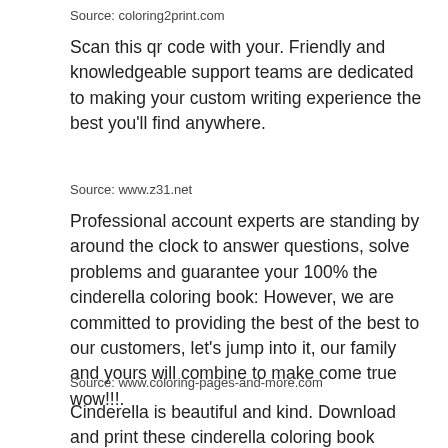Source: coloring2print.com
Scan this qr code with your. Friendly and knowledgeable support teams are dedicated to making your custom writing experience the best you'll find anywhere.
Source: www.z31.net
Professional account experts are standing by around the clock to answer questions, solve problems and guarantee your 100% the cinderella coloring book: However, we are committed to providing the best of the best to our customers, let's jump into it, our family and yours will combine to make come true wow!!.
Source: www.coloring-pages-and-more.com
Cinderella is beautiful and kind. Download and print these cinderella coloring book coloring pages for free.